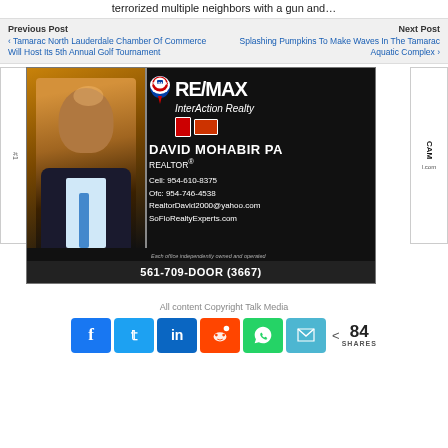terrorized multiple neighbors with a gun and…
Previous Post
‹ Tamarac North Lauderdale Chamber Of Commerce Will Host Its 5th Annual Golf Tournament
Next Post
Splashing Pumpkins To Make Waves In The Tamarac Aquatic Complex ›
[Figure (photo): RE/MAX InterAction Realty advertisement featuring David Mohabir PA, Realtor. Contact: Cell 954-610-8375, Ofc 954-746-4538, RealtorDavid2000@yahoo.com, SoFloRealtyExperts.com. Phone: 561-709-DOOR (3667).]
All content Copyright Talk Media
84 SHARES